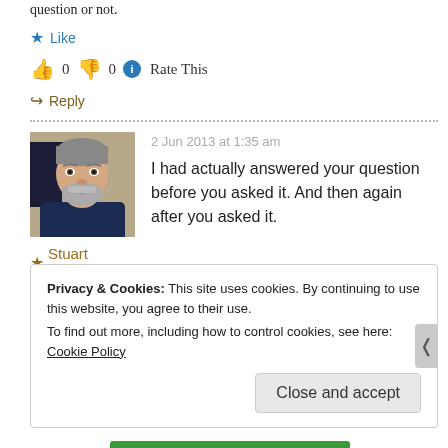question or not.
★ Like
👍 0 👎 0 ℹ Rate This
↪ Reply
[Figure (photo): Profile photo of Stuart Sorensen, a middle-aged man with a grey beard, wearing a dark navy shirt]
★ Stuart Sorensen
2 Jun 2013 at 1:35 am
I had actually answered your question before you asked it. And then again after you asked it.
Privacy & Cookies: This site uses cookies. By continuing to use this website, you agree to their use.
To find out more, including how to control cookies, see here: Cookie Policy
Close and accept